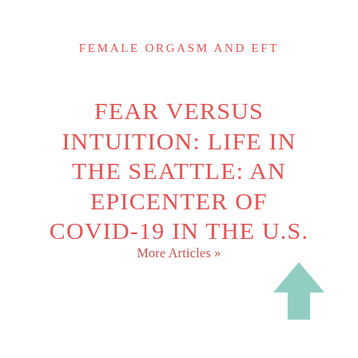FEMALE ORGASM AND EFT
FEAR VERSUS INTUITION: LIFE IN THE SEATTLE: AN EPICENTER OF COVID-19 IN THE U.S.
More Articles »
[Figure (illustration): Upward-pointing arrow icon in muted teal/mint color, positioned bottom-right corner]